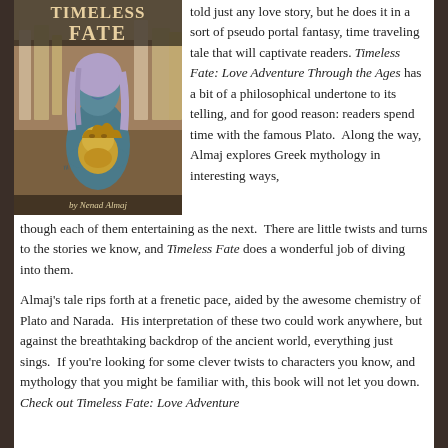[Figure (illustration): Book cover for 'Timeless Fate' by Nenad Almaj, showing a blue-skinned woman with lavender hair holding a golden bearded male head, set against an ancient world backdrop. The title 'Timeless Fate' appears in large letters at the top.]
told just any love story, but he does it in a sort of pseudo portal fantasy, time traveling tale that will captivate readers. Timeless Fate: Love Adventure Through the Ages has a bit of a philosophical undertone to its telling, and for good reason: readers spend time with the famous Plato.  Along the way, Almaj explores Greek mythology in interesting ways, though each of them entertaining as the next.  There are little twists and turns to the stories we know, and Timeless Fate does a wonderful job of diving into them.
Almaj's tale rips forth at a frenetic pace, aided by the awesome chemistry of Plato and Narada.  His interpretation of these two could work anywhere, but against the breathtaking backdrop of the ancient world, everything just sings.  If you're looking for some clever twists to characters you know, and mythology that you might be familiar with, this book will not let you down.  Check out Timeless Fate: Love Adventure